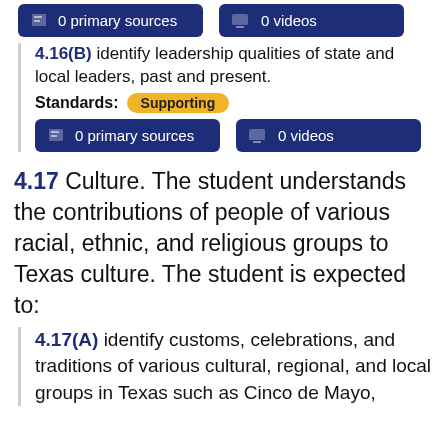[Figure (infographic): Dark blue button showing document icon and '0 primary sources']
[Figure (infographic): Dark blue button showing monitor icon and '0 videos']
4.16(B) identify leadership qualities of state and local leaders, past and present.
Standards: Supporting
[Figure (infographic): Dark blue button showing document icon and '0 primary sources']
[Figure (infographic): Dark blue button showing monitor icon and '0 videos']
4.17 Culture. The student understands the contributions of people of various racial, ethnic, and religious groups to Texas culture. The student is expected to:
4.17(A) identify customs, celebrations, and traditions of various cultural, regional, and local groups in Texas such as Cinco de Mayo,